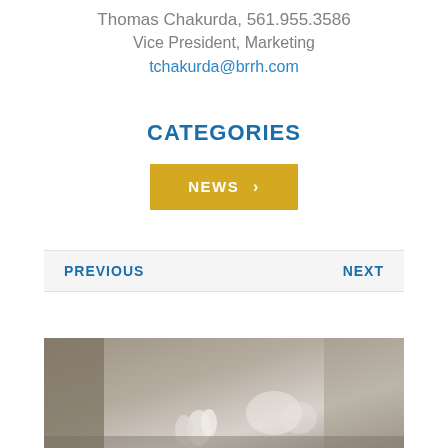Thomas Chakurda, 561.955.3586
Vice President, Marketing
tchakurda@brrh.com
CATEGORIES
NEWS
PREVIOUS
NEXT
[Figure (photo): Sepia-toned photo showing what appears to be small animals or birds at the bottom of the frame with a muted gray-brown background]